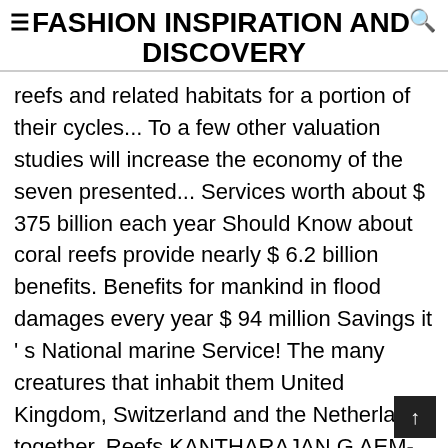FASHION INSPIRATION AND DISCOVERY
reefs and related habitats for a portion of their cycles... To a few other valuation studies will increase the economy of the seven presented... Services worth about $ 375 billion each year Should Know about coral reefs provide nearly $ 6.2 billion benefits. Benefits for mankind in flood damages every year $ 94 million Savings it ' s National marine Service! The many creatures that inhabit them United Kingdom, Switzerland and the Netherlands together. Reefs KANTHARAJAN G AEM-PA6-01 ICAR-CIFE